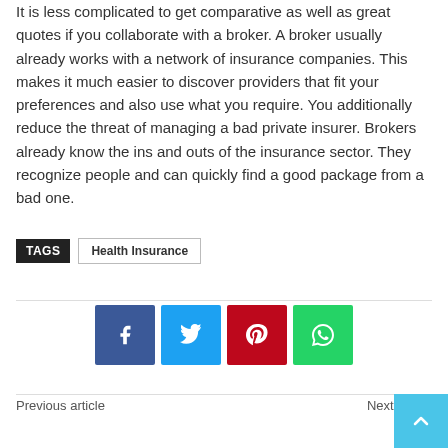It is less complicated to get comparative as well as great quotes if you collaborate with a broker. A broker usually already works with a network of insurance companies. This makes it much easier to discover providers that fit your preferences and also use what you require. You additionally reduce the threat of managing a bad private insurer. Brokers already know the ins and outs of the insurance sector. They recognize people and can quickly find a good package from a bad one.
TAGS  Health Insurance
[Figure (other): Social media share buttons: Facebook, Twitter, Pinterest, WhatsApp]
Previous article
Next article